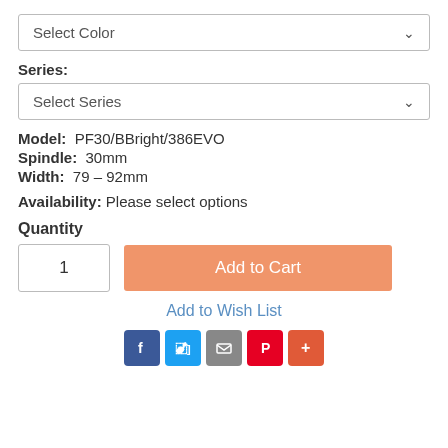Select Color (dropdown)
Series:
Select Series (dropdown)
Model: PF30/BBright/386EVO
Spindle: 30mm
Width: 79 – 92mm
Availability: Please select options
Quantity
1
Add to Cart
Add to Wish List
[Figure (other): Social share icons: Facebook, Twitter, Email, Pinterest, More (+)]